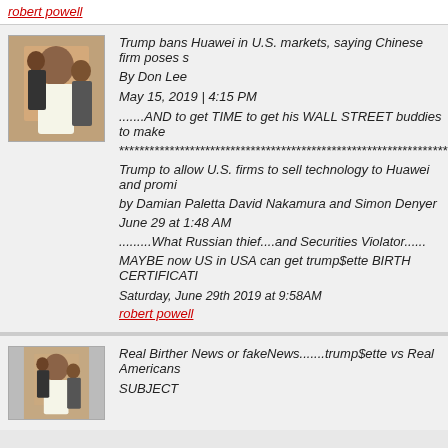robert powell
[Figure (photo): Avatar photo of a person in traditional Middle Eastern clothing with others in background]
Trump bans Huawei in U.S. markets, saying Chinese firm poses s...
By Don Lee
May 15, 2019 | 4:15 PM
.......AND to get TIME to get his WALL STREET buddies to make...
******************************************************************************
Trump to allow U.S. firms to sell technology to Huawei and promi...
by Damian Paletta David Nakamura and Simon Denyer
June 29 at 1:48 AM
.........What Russian thief....and Securities Violator......
MAYBE now US in USA can get trump$ette BIRTH CERTIFICATI...
Saturday, June 29th 2019 at 9:58AM
robert powell
[Figure (photo): Avatar photo of a person in traditional Middle Eastern clothing with others in background]
Real Birther News or fakeNews.......trump$ette vs Real Americans...
SUBJECT